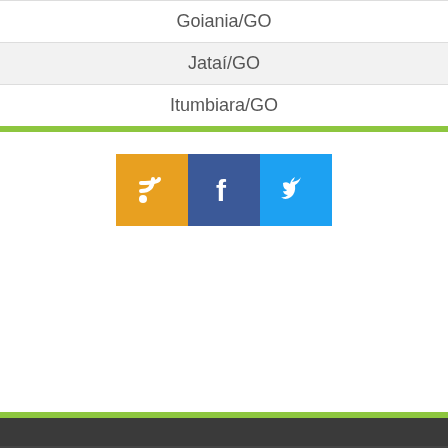Goiania/GO
Jataí/GO
Itumbiara/GO
[Figure (infographic): Three social media icons: RSS (orange/yellow), Facebook (blue), Twitter (light blue)]
[Figure (logo): MAC logo in dark footer bar with circular graphic and MAC text]